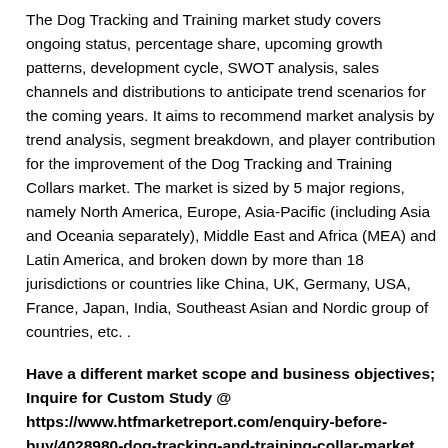The Dog Tracking and Training market study covers ongoing status, percentage share, upcoming growth patterns, development cycle, SWOT analysis, sales channels and distributions to anticipate trend scenarios for the coming years. It aims to recommend market analysis by trend analysis, segment breakdown, and player contribution for the improvement of the Dog Tracking and Training Collars market. The market is sized by 5 major regions, namely North America, Europe, Asia-Pacific (including Asia and Oceania separately), Middle East and Africa (MEA) and Latin America, and broken down by more than 18 jurisdictions or countries like China, UK, Germany, USA, France, Japan, India, Southeast Asian and Nordic group of countries, etc. .
Have a different market scope and business objectives; Inquire for Custom Study @ https://www.htfmarketreport.com/enquiry-before-buy/4028980-dog-tracking-and-training-collar-market
For consumer-centric data, demand or survey analysis can